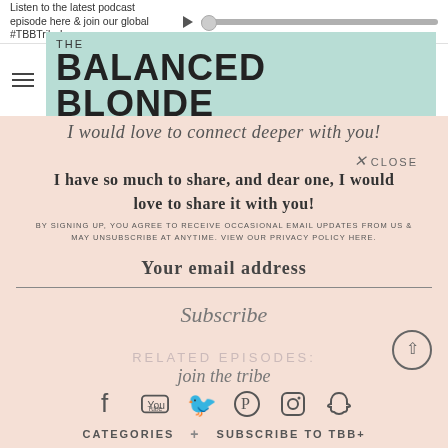Listen to the latest podcast episode here & join our global #TBBTribe!
THE BALANCED BLONDE
I would love to connect deeper with you!
I have so much to share, and dear one, I would love to share it with you!
BY SIGNING UP, YOU AGREE TO RECEIVE OCCASIONAL EMAIL UPDATES FROM US & MAY UNSUBSCRIBE AT ANYTIME. VIEW OUR PRIVACY POLICY HERE.
Your email address
Subscribe
RELATED EPISODES:
join the tribe
CATEGORIES + SUBSCRIBE TO TBB+